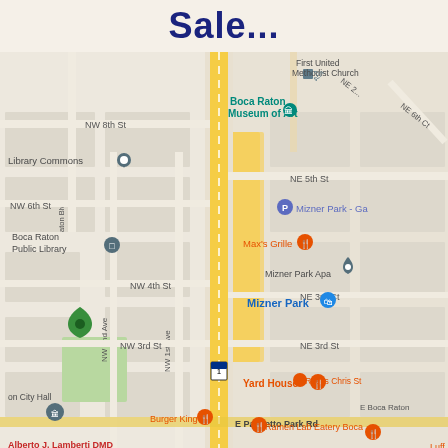Sale...
[Figure (map): Google Maps screenshot showing downtown Boca Raton, Florida area with N Dixie Hwy running vertically through the center. Notable landmarks labeled include: First United Methodist Church, Boca Raton Museum of Art, Library Commons, Boca Raton Public Library, Mizner Park, Mizner Park Apartments, Max's Grille, Yard House, Ruth's Chris Steak House, Ramen Lab Eatery Boca, Burger King, Casa D'Angelo Ristorante, Louie Bossi's Ristorante Bar Pizzeria, Alberto J. Lamberti DMD, Boca Raton City Hall. Streets visible include NW 8th St, NW 6th St, NW 4th St, NW 3rd St, NE 5th St, NE 3rd St, NE 3rd Ct, E Palmetto Park Rd, NW 2nd Ave, NW 1st Ave, NE 2nd Ave, NE 6th Ct.]